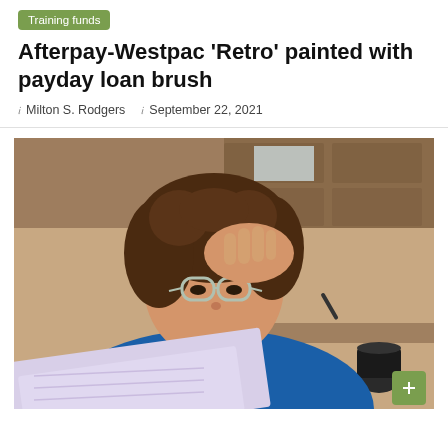Training funds
Afterpay-Westpac ‘Retro’ painted with payday loan brush
ı Milton S. Rodgers   ı September 22, 2021
[Figure (photo): A young woman with curly hair and glasses holds her hand to her forehead while reading a document in a kitchen setting, appearing stressed or concerned.]